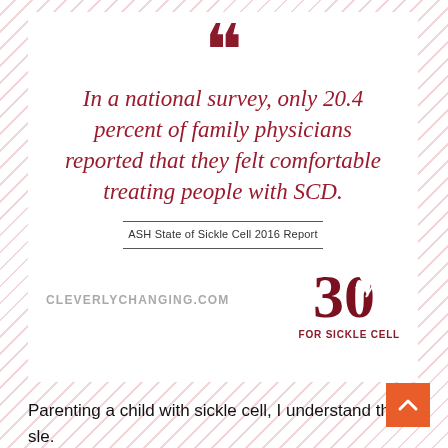[Figure (infographic): Quote card with diagonal red stripe background. Large closing quotation mark at top in dark red. Italic quote text in red/crimson: 'In a national survey, only 20.4 percent of family physicians reported that they felt comfortable treating people with SCD.' Source line: ASH State of Sickle Cell 2016 Report. Footer with CLEVERLYCHANGING.COM text and '30 FOR SICKLE CELL' logo in dark red.]
Parenting a child with sickle cell, I understand the struggle. Anytime she feels sick I can get an uneasy feeling. I may even question myself because I fear the illness could lead